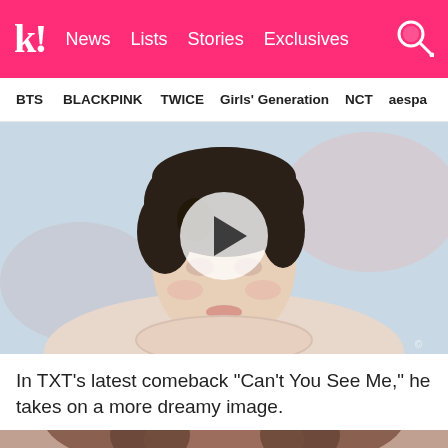k! News Lists Stories Exclusives
BTS  BLACKPINK  TWICE  Girls' Generation  NCT  aespa
[Figure (photo): Young man with dark hair wearing a cream knit sweater, soft dreamy bokeh background. A large semi-transparent play button circle overlay is centered on the image.]
In TXT's latest comeback “Can’t You See Me,” he takes on a more dreamy image.
[Figure (photo): Partial photo at bottom of page, appears to show a person with dark hair.]